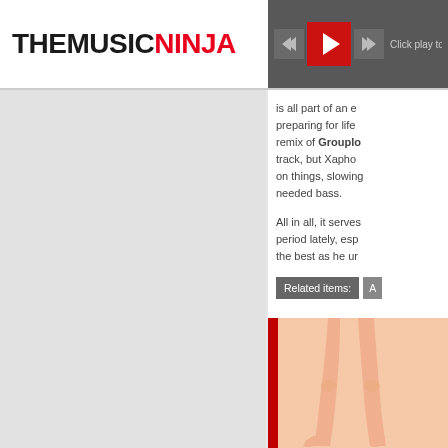THEMUSIC NINJA
is all part of an e preparing for life remix of Grouplo track, but Xapho on things, slowing needed bass. All in all, it serves period lately, esp the best as he ur
Related items:
[Figure (illustration): Animated/illustrated legs of a character, cartoon style, skin-toned, standing, with a red vertical bar on the left side]